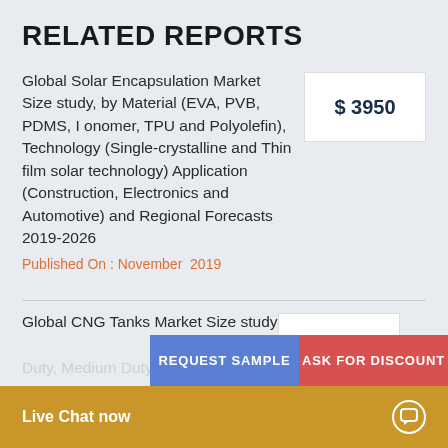RELATED REPORTS
Global Solar Encapsulation Market Size study, by Material (EVA, PVB, PDMS, Ionomer, TPU and Polyolefin), Technology (Single-crystalline and Thin film solar technology) Application (Construction, Electronics and Automotive) and Regional Forecasts 2019-2026
$ 3950
Published On : November  2019
Global CNG Tanks Market Size study
Duty, Medium Duty, H
REQUEST SAMPLE
ASK FOR DISCOUNT
Live Chat now